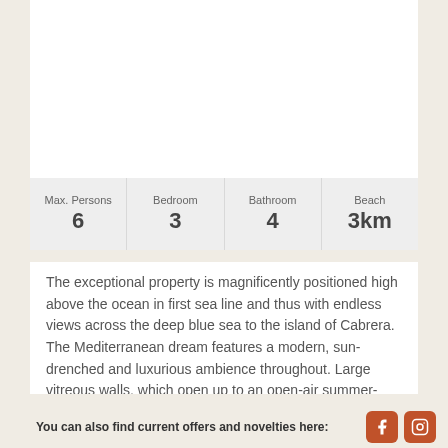[Figure (photo): White blank image area at top of property listing]
| Max. Persons | Bedroom | Bathroom | Beach |
| --- | --- | --- | --- |
| 6 | 3 | 4 | 3km |
The exceptional property is magnificently positioned high above the ocean in first sea line and thus with endless views across the deep blue sea to the island of Cabrera. The Mediterranean dream features a modern, sun-drenched and luxurious ambience throughout. Large vitreous walls, which open up to an open-air summer-kitchen extending the generous
You can also find current offers and novelties here: